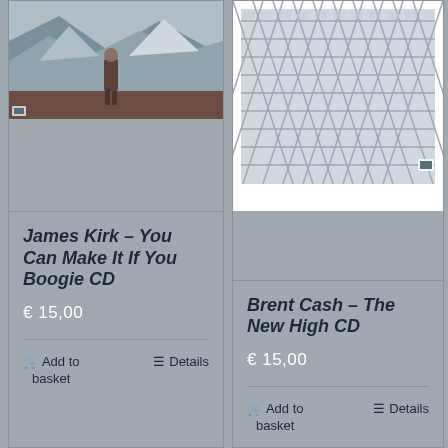[Figure (photo): Album cover photo showing a person standing on a mountain path with misty mountains in background]
[Figure (photo): Album cover photo showing close-up of a modern building facade with diagonal lattice/grid pattern against blue sky]
James Kirk – You Can Make It If You Boogie CD
€ 15,00
Add to basket
Details
Brent Cash – The New High CD
€ 15,00
Add to basket
Details